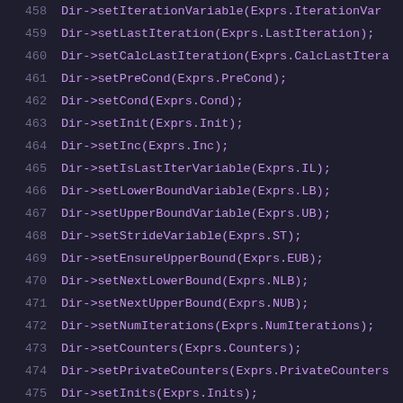458  Dir->setIterationVariable(Exprs.IterationVar
459  Dir->setLastIteration(Exprs.LastIteration);
460  Dir->setCalcLastIteration(Exprs.CalcLastItera
461  Dir->setPreCond(Exprs.PreCond);
462  Dir->setCond(Exprs.Cond);
463  Dir->setInit(Exprs.Init);
464  Dir->setInc(Exprs.Inc);
465  Dir->setIsLastIterVariable(Exprs.IL);
466  Dir->setLowerBoundVariable(Exprs.LB);
467  Dir->setUpperBoundVariable(Exprs.UB);
468  Dir->setStrideVariable(Exprs.ST);
469  Dir->setEnsureUpperBound(Exprs.EUB);
470  Dir->setNextLowerBound(Exprs.NLB);
471  Dir->setNextUpperBound(Exprs.NUB);
472  Dir->setNumIterations(Exprs.NumIterations);
473  Dir->setCounters(Exprs.Counters);
474  Dir->setPrivateCounters(Exprs.PrivateCounters
475  Dir->setInits(Exprs.Inits);
476  Dir->setUpdates(Exprs.Updates);
477  Dir->setFinals(Exprs.Finals);
478  Dir->setDependentCounters(Exprs.DependentCoun
479  Dir->setDependentInits(Exprs.DependentInits);